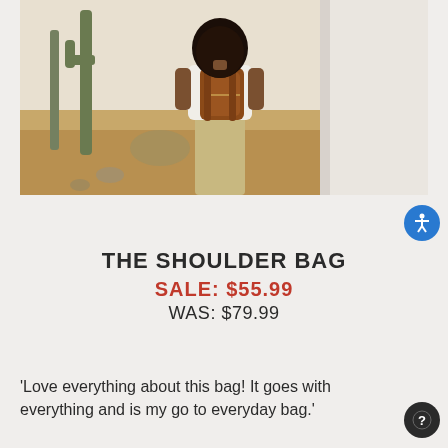[Figure (photo): Woman seen from behind wearing a brown leather backpack, walking in a desert landscape with cacti and a white wall on the right side.]
THE SHOULDER BAG
SALE: $55.99
WAS: $79.99
'Love everything about this bag! It goes with everything and is my go to everyday bag.'